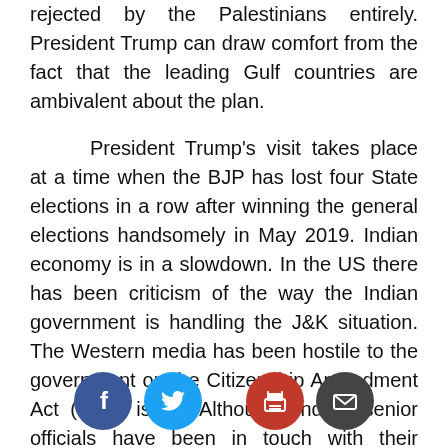rejected by the Palestinians entirely. President Trump can draw comfort from the fact that the leading Gulf countries are ambivalent about the plan.
President Trump's visit takes place at a time when the BJP has lost four State elections in a row after winning the general elections handsomely in May 2019. Indian economy is in a slowdown. In the US there has been criticism of the way the Indian government is handling the J&K situation. The Western media has been hostile to the government on the Citizenship Amendment Act (CAA) issue. Although, India's senior officials have been in touch with their counterparts in the US on these issues, how Trump reacts publicly during his visit remains uncertain. On Jammu and
[Figure (illustration): Social media sharing icons: Facebook (blue circle with f), Twitter (blue circle with bird), Print (red circle with printer), Email (dark circle with envelope)]